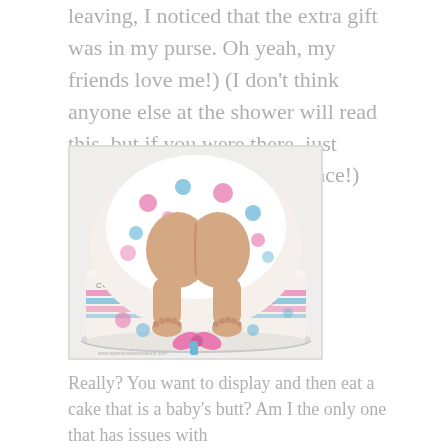leaving, I noticed that the extra gift was in my purse. Oh yeah, my friends love me!) (I don't think anyone else at the shower will read this, but if you were there, just disregard the previous sentence!)
[Figure (photo): A novelty baby shower cake shaped like a baby's bottom sticking up, with a polka-dot diaper (white with pink and blue dots), realistic fondant baby legs and feet, decorated with pink and blue ribbons and the text 'CONGRATULATIONS' on the side. Watermark reads www.specilgakacakes.com]
Really? You want to display and then eat a cake that is a baby's butt? Am I the only one that has issues with